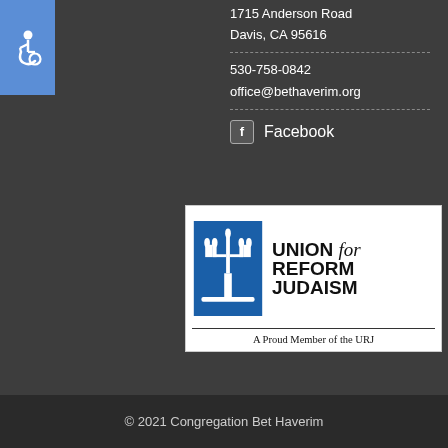[Figure (illustration): Accessibility icon (wheelchair symbol) on blue square background]
1715 Anderson Road
Davis, CA 95616
530-758-0842
office@bethaverim.org
Facebook
[Figure (logo): Union for Reform Judaism logo with menorah graphic and text 'UNION for REFORM JUDAISM' and 'A Proud Member of the URJ']
© 2021 Congregation Bet Haverim